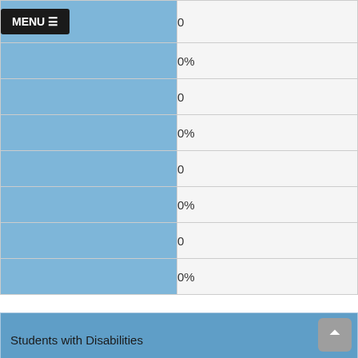|  | Value |
| --- | --- |
| MENU ☰ | 0 |
|  | 0% |
|  | 0 |
|  | 0% |
|  | 0 |
|  | 0% |
|  | 0 |
|  | 0% |
| Students with Disabilities |  |
| --- | --- |
|  | 0 |
|  | 0 |